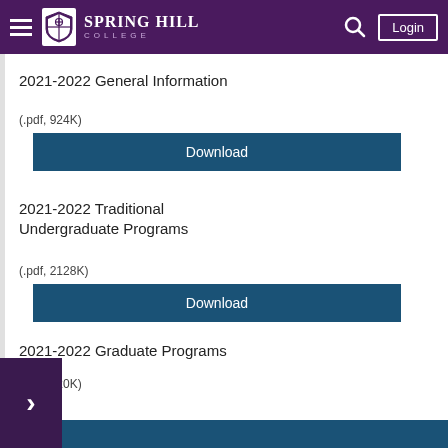Spring Hill College
2021-2022 General Information
(.pdf, 924K)
Download
2021-2022 Traditional Undergraduate Programs
(.pdf, 2128K)
Download
2021-2022 Graduate Programs
(.pdf, 520K)